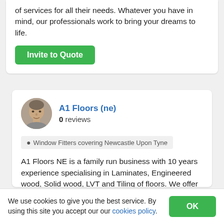of services for all their needs. Whatever you have in mind, our professionals work to bring your dreams to life.
Invite to Quote
[Figure (photo): Circular avatar photo of a man, the profile image for A1 Floors (ne)]
A1 Floors (ne)
0 reviews
Window Fitters covering Newcastle Upon Tyne
A1 Floors NE is a family run business with 10 years experience specialising in Laminates, Engineered wood, Solid wood, LVT and Tiling of floors. We offer a fast and friendly no obligation service. We also
We use cookies to give you the best service. By using this site you accept our our cookies policy.